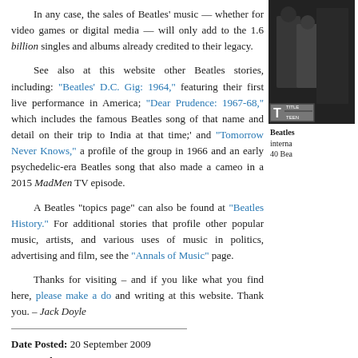In any case, the sales of Beatles' music — whether for video games or digital media — will only add to the 1.6 billion singles and albums already credited to their legacy.
[Figure (photo): Black and white photo of The Beatles, partially visible on right side of page, with a T-rated label/rating box overlay at bottom]
See also at this website other Beatles stories, including: "Beatles' D.C. Gig: 1964," featuring their first live performance in America; "Dear Prudence: 1967-68," which includes the famous Beatles song of that name and detail on their trip to India at that time;' and "Tomorrow Never Knows," a profile of the group in 1966 and an early psychedelic-era Beatles song that also made a cameo in a 2015 MadMen TV episode.
Beatles interna 40 Bea
A Beatles "topics page" can also be found at "Beatles History." For additional stories that profile other popular music, artists, and various uses of music in politics, advertising and film, see the "Annals of Music" page.
Thanks for visiting – and if you like what you find here, please make a do and writing at this website. Thank you. – Jack Doyle
Date Posted:  20 September 2009
Last Update:  25 January 2020
Comments to:  jdoyle@pophistorydig.com
Article Citation:
Jack Doyle, "Beatles in America, 1963-1964,"